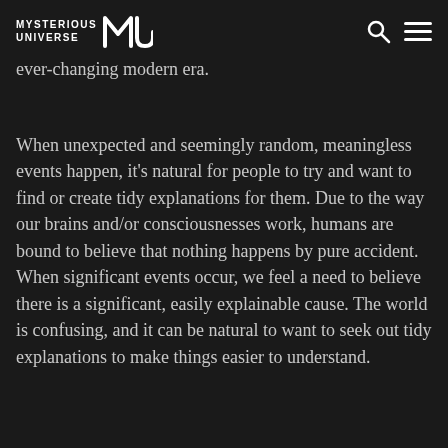Mysterious Universe [logo] [search icon] [menu icon]
beyond our comprehension or control. Hence, the rise of conspiracy theories in our turbulent, ever-changing modern era.
When unexpected and seemingly random, meaningless events happen, it's natural for people to try and want to find or create tidy explanations for them. Due to the way our brains and/or consciousnesses work, humans are bound to believe that nothing happens by pure accident. When significant events occur, we feel a need to believe there is a significant, easily explainable cause. The world is confusing, and it can be natural to want to seek out tidy explanations to make things easier to understand.